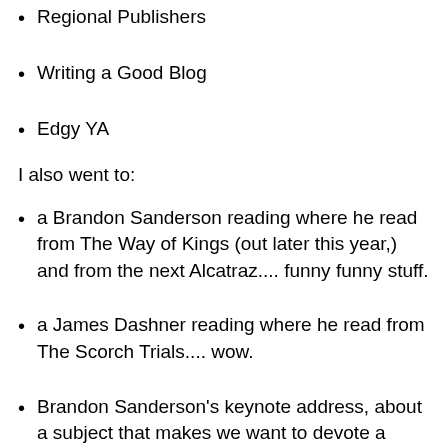Regional Publishers
Writing a Good Blog
Edgy YA
I also went to:
a Brandon Sanderson reading where he read from The Way of Kings (out later this year,) and from the next Alcatraz.... funny funny stuff.
a James Dashner reading where he read from The Scorch Trials.... wow.
Brandon Sanderson's keynote address, about a subject that makes we want to devote a whole post to